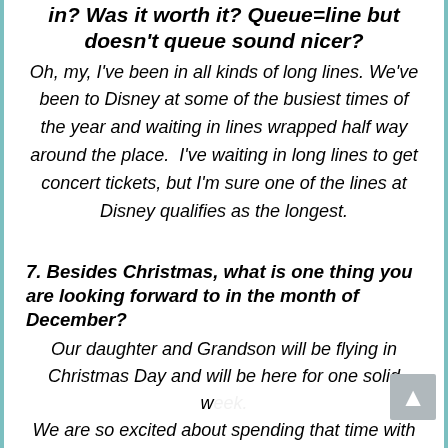in? Was it worth it? Queue=line but doesn't queue sound nicer?
Oh, my, I've been in all kinds of long lines. We've been to Disney at some of the busiest times of the year and waiting in lines wrapped half way around the place.  I've waiting in long lines to get concert tickets, but I'm sure one of the lines at Disney qualifies as the longest.
7. Besides Christmas, what is one thing you are looking forward to in the month of December?
Our daughter and Grandson will be flying in Christmas Day and will be here for one solid w… We are so excited about spending that time with them.  Dodge City is just too far away!!!